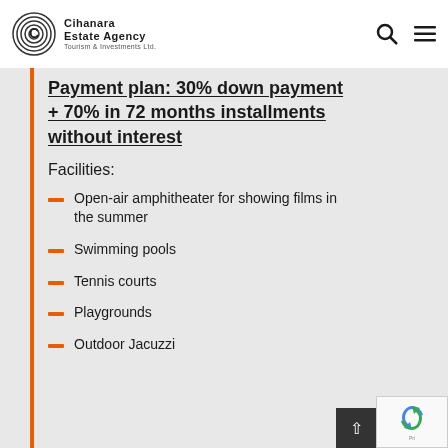Cihanara Estate Agency Tourism & Investments Ltd.
Payment plan: 30% down payment + 70% in 72 months installments without interest
Facilities:
Open-air amphitheater for showing films in the summer
Swimming pools
Tennis courts
Playgrounds
Outdoor Jacuzzi